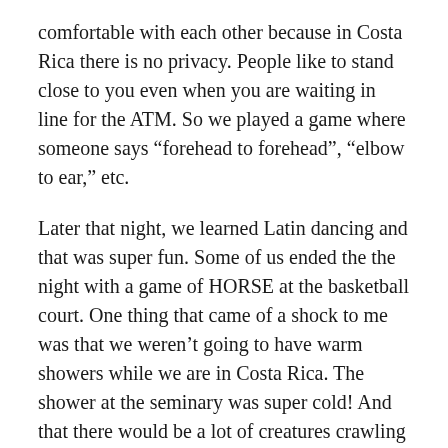comfortable with each other because in Costa Rica there is no privacy. People like to stand close to you even when you are waiting in line for the ATM. So we played a game where someone says “forehead to forehead”, “elbow to ear,” etc.
Later that night, we learned Latin dancing and that was super fun. Some of us ended the the night with a game of HORSE at the basketball court. One thing that came of a shock to me was that we weren’t going to have warm showers while we are in Costa Rica. The shower at the seminary was super cold! And that there would be a lot of creatures crawling around. Annie found a ginormous dead spider on her pillow before she went to sleep. It was hysterical.
The next morning we hiked in the Tapantí National Park and got to swim in the river. We also got to jump off some rocks. It was my first time and it was exhilarating. Later we stopped by in